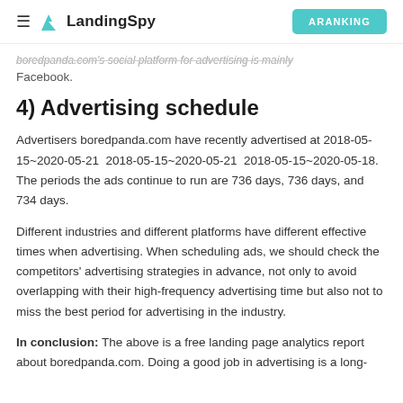LandingSpy | ARANKING
boredpanda.com's social platform for advertising is mainly Facebook.
4) Advertising schedule
Advertisers boredpanda.com have recently advertised at 2018-05-15~2020-05-21  2018-05-15~2020-05-21  2018-05-15~2020-05-18. The periods the ads continue to run are 736 days, 736 days, and 734 days.
Different industries and different platforms have different effective times when advertising. When scheduling ads, we should check the competitors' advertising strategies in advance, not only to avoid overlapping with their high-frequency advertising time but also not to miss the best period for advertising in the industry.
In conclusion: The above is a free landing page analytics report about boredpanda.com. Doing a good job in advertising is a long-